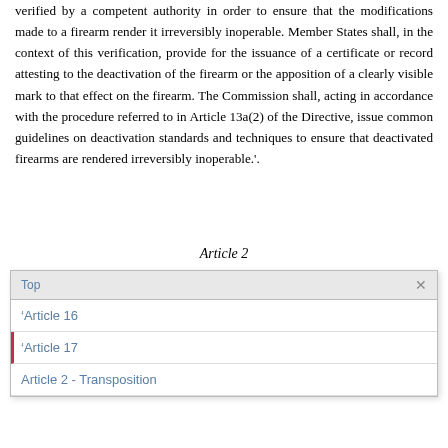verified by a competent authority in order to ensure that the modifications made to a firearm render it irreversibly inoperable. Member States shall, in the context of this verification, provide for the issuance of a certificate or record attesting to the deactivation of the firearm or the apposition of a clearly visible mark to that effect on the firearm. The Commission shall, acting in accordance with the procedure referred to in Article 13a(2) of the Directive, issue common guidelines on deactivation standards and techniques to ensure that deactivated firearms are rendered irreversibly inoperable.'.
Article 2
| Top | × |
| --- | --- |
| 'Article 16 |
| 'Article 17 |
| Article 2 - Transposition |